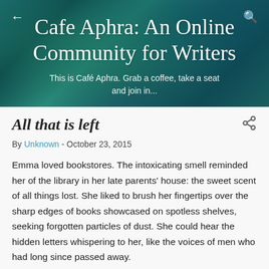Cafe Aphra: An Online Community for Writers
This is Café Aphra. Grab a coffee, take a seat and join in...
All that is left
By Unknown - October 23, 2015
Emma loved bookstores. The intoxicating smell reminded her of the library in her late parents' house: the sweet scent of all things lost. She liked to brush her fingertips over the sharp edges of books showcased on spotless shelves, seeking forgotten particles of dust. She could hear the hidden letters whispering to her, like the voices of men who had long since passed away.